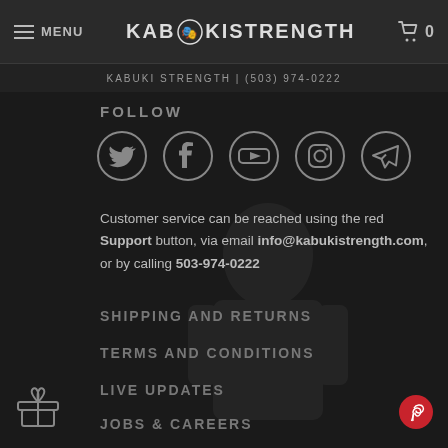MENU  KABUKI STRENGTH  0
KABUKI STRENGTH | (503) 974-0222
FOLLOW
[Figure (infographic): Five social media icon circles: Twitter, Facebook, YouTube, Instagram, Telegram]
Customer service can be reached using the red Support button, via email info@kabukistrength.com, or by calling 503-974-0222
SHIPPING AND RETURNS
TERMS AND CONDITIONS
LIVE UPDATES
JOBS & CAREERS